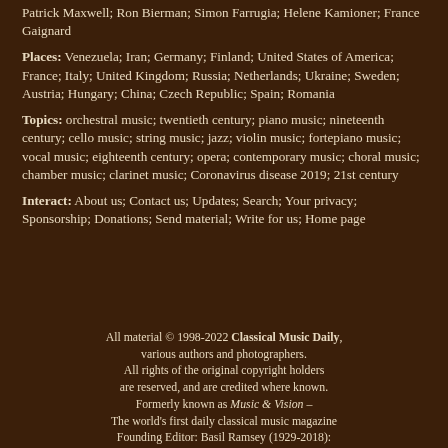Patrick Maxwell; Ron Bierman; Simon Farrugia; Helene Kamioner; France Gaignard
Places: Venezuela; Iran; Germany; Finland; United States of America; France; Italy; United Kingdom; Russia; Netherlands; Ukraine; Sweden; Austria; Hungary; China; Czech Republic; Spain; Romania
Topics: orchestral music; twentieth century; piano music; nineteenth century; cello music; string music; jazz; violin music; fortepiano music; vocal music; eighteenth century; opera; contemporary music; choral music; chamber music; clarinet music; Coronavirus disease 2019; 21st century
Interact: About us; Contact us; Updates; Search; Your privacy; Sponsorship; Donations; Send material; Write for us; Home page
All material © 1998-2022 Classical Music Daily, various authors and photographers. All rights of the original copyright holders are reserved, and are credited where known. Formerly known as Music & Vision – The world's first daily classical music magazine Founding Editor: Basil Ramsey (1929-2018):